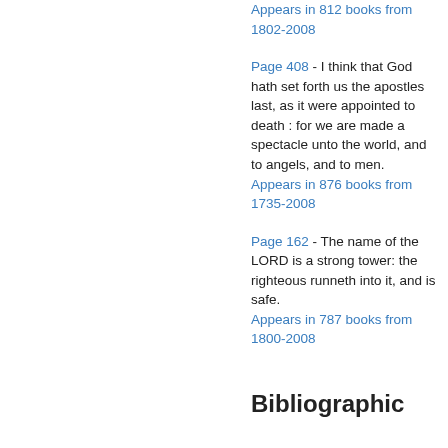Appears in 812 books from 1802-2008
Page 408 - I think that God hath set forth us the apostles last, as it were appointed to death : for we are made a spectacle unto the world, and to angels, and to men.
Appears in 876 books from 1735-2008
Page 162 - The name of the LORD is a strong tower: the righteous runneth into it, and is safe.
Appears in 787 books from 1800-2008
Bibliographic